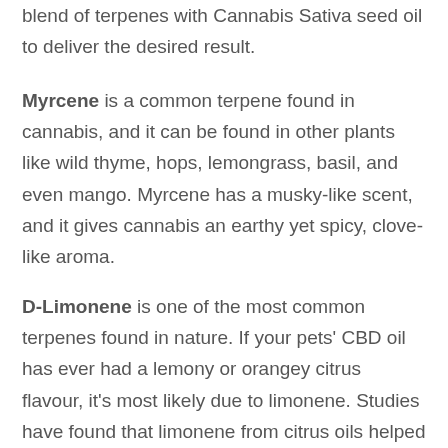blend of terpenes with Cannabis Sativa seed oil to deliver the desired result.
Myrcene is a common terpene found in cannabis, and it can be found in other plants like wild thyme, hops, lemongrass, basil, and even mango. Myrcene has a musky-like scent, and it gives cannabis an earthy yet spicy, clove-like aroma.
D-Limonene is one of the most common terpenes found in nature. If your pets' CBD oil has ever had a lemony or orangey citrus flavour, it's most likely due to limonene. Studies have found that limonene from citrus oils helped promote a calming effect in study participants (in this case, mice).